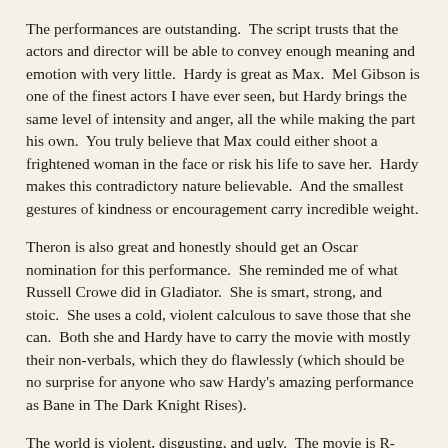The performances are outstanding.  The script trusts that the actors and director will be able to convey enough meaning and emotion with very little.  Hardy is great as Max.  Mel Gibson is one of the finest actors I have ever seen, but Hardy brings the same level of intensity and anger, all the while making the part his own.  You truly believe that Max could either shoot a frightened woman in the face or risk his life to save her.  Hardy makes this contradictory nature believable.  And the smallest gestures of kindness or encouragement carry incredible weight.
Theron is also great and honestly should get an Oscar nomination for this performance.  She reminded me of what Russell Crowe did in Gladiator.  She is smart, strong, and stoic.  She uses a cold, violent calculous to save those that she can.  Both she and Hardy have to carry the movie with mostly their non-verbals, which they do flawlessly (which should be no surprise for anyone who saw Hardy's amazing performance as Bane in The Dark Knight Rises).
The world is violent, disgusting, and ugly.  The movie is R-Rated and rightly so.  The violence is bloody and over-the top.  But the movie ironically uses a great deal of discretion.  A key element of the story is the sexual enslavement of women and yet the movie